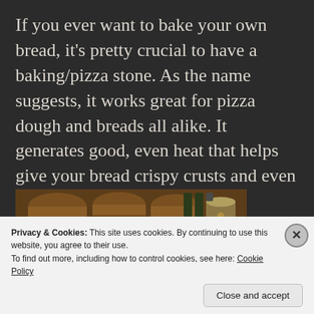If you ever want to bake your own bread, it's pretty crucial to have a baking/pizza stone. As the name suggests, it works great for pizza dough and breads all alike. It generates good, even heat that helps give your bread crispy crusts and even cooking.
[Figure (photo): Photograph of pantry shelf with wooden barrels, glass jars with contents, and dark glass bottles lined up]
Privacy & Cookies: This site uses cookies. By continuing to use this website, you agree to their use.
To find out more, including how to control cookies, see here: Cookie Policy
Close and accept